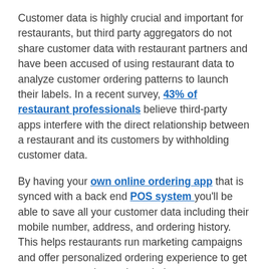Customer data is highly crucial and important for restaurants, but third party aggregators do not share customer data with restaurant partners and have been accused of using restaurant data to analyze customer ordering patterns to launch their labels. In a recent survey, 43% of restaurant professionals believe third-party apps interfere with the direct relationship between a restaurant and its customers by withholding customer data.
By having your own online ordering app that is synced with a back end POS system you'll be able to save all your customer data including their mobile number, address, and ordering history. This helps restaurants run marketing campaigns and offer personalized ordering experience to get customers to order again to their restaurants through their app.